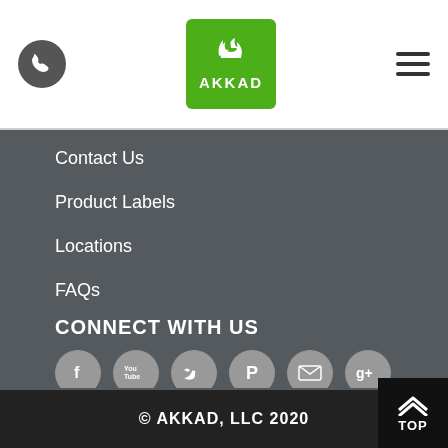[Figure (logo): AKKAD logo: green rounded square with two leaf icons and text AKKAD in white]
Contact Us
Product Labels
Locations
FAQs
CONNECT WITH US
[Figure (infographic): Six social media icon circles: Facebook, YouTube, Twitter, Pinterest, Email, Google+]
PAYMENTS
[Figure (illustration): Payment methods image (broken/not loaded)]
© AKKAD, LLC 2020